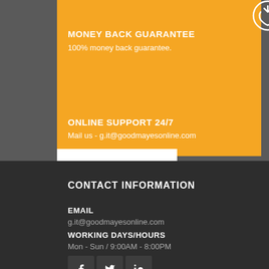[Figure (illustration): Money back guarantee icon — circular arrow with down arrow inside, white on orange background]
MONEY BACK GUARANTEE
100% money back guarantee.
[Figure (illustration): 24/7 online support icon — circle with '24' and refresh arrows, white on orange background]
ONLINE SUPPORT 24/7
Mail us - g.it@goodmayesonline.com
CONTACT INFORMATION
EMAIL
g.it@goodmayesonline.com
WORKING DAYS/HOURS
Mon - Sun / 9:00AM - 8:00PM
[Figure (illustration): Social media icons: Facebook, Twitter, LinkedIn — white icons on dark grey square buttons]